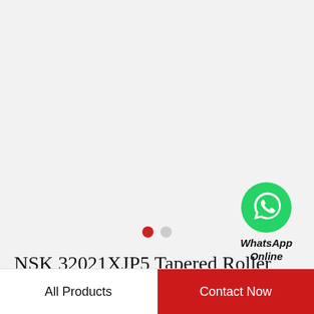[Figure (logo): WhatsApp green circle icon with white phone handset symbol, with text 'WhatsApp Online' below]
NSK 32021XJP5 Tapered Roller Bearing Assemblies
All Products
Contact Now